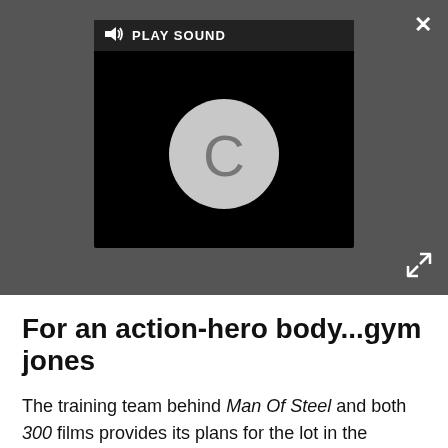[Figure (screenshot): Video player UI on dark grey background showing a 'PLAY SOUND' button with speaker icon and a loading circle with letter C on black background. Close X button top right, expand arrows button bottom right.]
For an action-hero body...gym jones
The training team behind Man Of Steel and both 300 films provides its plans for the lot in the members-only ‘Salvation’ section of its site, alongside articles on philosophy, theory and training for endurance sports. It’s worth dropping in for the ‘FYF’ videos – it stands for, er, Fuck You Friday – where the